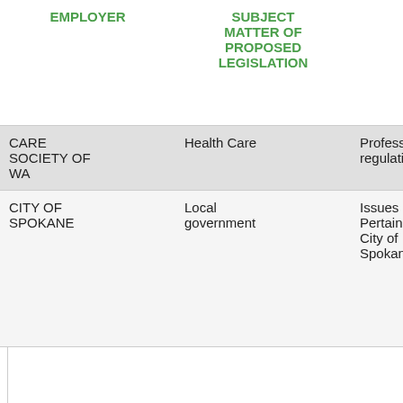| EMPLOYER | SUBJECT MATTER OF PROPOSED LEGISLATION | ISSUE OR BILL NUMBER | PERSONS LEGISLATIVE COMMITTEE OR STATE AGENCY CONSIDERING THE MATTER |
| --- | --- | --- | --- |
| CARE SOCIETY OF WA | Health Care | Professional regulation | Senate H... House HC... |
| CITY OF SPOKANE | Local government | Issues Pertaining to City of Spokane | Senate W... House approps, House Fin... Sen Healthcare... House Healthcare... House Lo... |